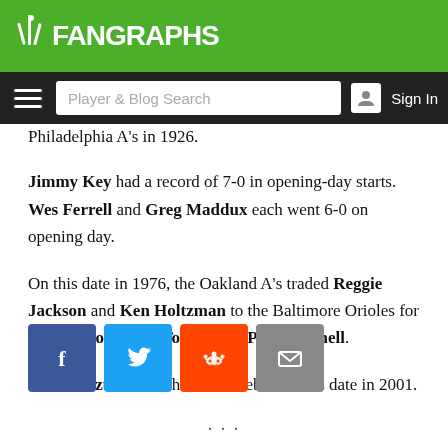FanGraphs
Philadelphia A's in 1926.
Jimmy Key had a record of 7-0 in opening-day starts. Wes Ferrell and Greg Maddux each went 6-0 on opening day.
On this date in 1976, the Oakland A's traded Reggie Jackson and Ken Holtzman to the Baltimore Orioles for Don Baylor, Mike Torrez, and Paul Mitchell.
Ichiro Suzuki made his MLB debut on this date in 2001.
[Figure (other): Social share buttons: Facebook, Twitter, Reddit, Email]